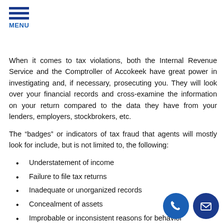MENU
When it comes to tax violations, both the Internal Revenue Service and the Comptroller of Accokeek have great power in investigating and, if necessary, prosecuting you. They will look over your financial records and cross-examine the information on your return compared to the data they have from your lenders, employers, stockbrokers, etc.
The “badges” or indicators of tax fraud that agents will mostly look for include, but is not limited to, the following:
Understatement of income
Failure to file tax returns
Inadequate or unorganized records
Concealment of assets
Improbable or inconsistent reasons for behavior
Inability to explain a significant increase in net worth over the years
Cash transactions